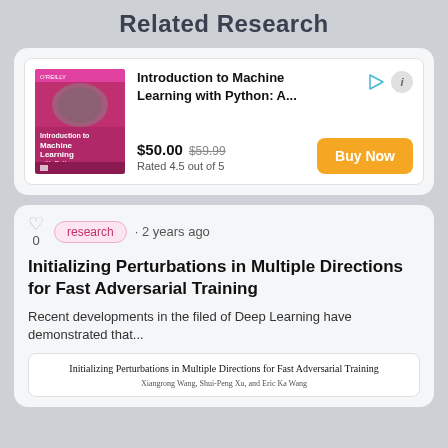Related Research
[Figure (screenshot): Book advertisement card for 'Introduction to Machine Learning with Python: A...' showing book cover, price $50.00 (was $59.99), rated 4.5 out of 5, with a Buy Now button]
[Figure (screenshot): Research article card: 'Initializing Perturbations in Multiple Directions for Fast Adversarial Training', tagged 'research', posted 2 years ago, with abstract and paper preview image]